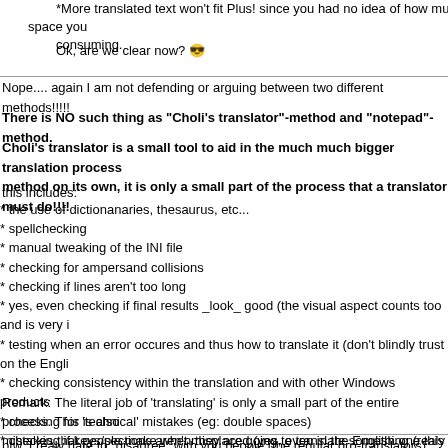*More translated text won't fit Plus! since you had no idea of how much space you consuming.
Ok, are we clear now? 😎
Nope.... again I am not defending or arguing between two different methods!!!!!
There is NO such thing as "Choli's translator"-method and "notepad"-method.
Choli's translator is a small tool to aid in the much much bigger translation process method on its own, it is only a small part of the process that a translator must do!!!!
this includes:
* the use of dictionanaries, thesaurus, etc...
* spellchecking
* manual tweaking of the INI file
* checking for ampersand collisions
* checking if lines aren't too long
* yes, even checking if final results _look_ good (the visual aspect counts too and is very i
* testing when an error occures and thus how to translate it (don't blindly trust on the Engli
* checking consistency within the translation and with other Windows products
* checking for 'technical' mistakes (eg: double spaces)
* checking if keys/sections aren't misplaced (yes, even in the English one this happens!!!)
* checking if everything is translated (and THIS is were Choli's tool comes in)
* etc...
* etc...
Remark: The literal job of 'translating' is only a small part of the entire process. This is also mistakes that people make when they are going to translate something (realy talking in ge the difference between translating a piece of text in school and translating a computer pro
btw, I realy hate to "disagree" with you people (the regular pro-translators), what I'm saying here on